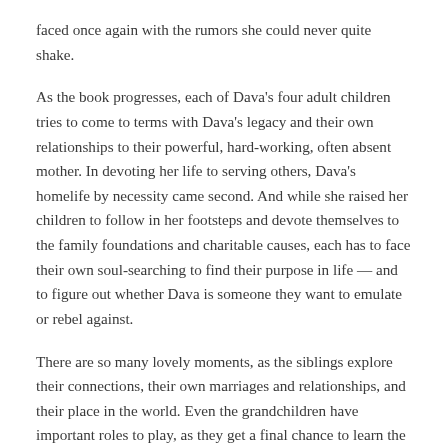faced once again with the rumors she could never quite shake.
As the book progresses, each of Dava's four adult children tries to come to terms with Dava's legacy and their own relationships to their powerful, hard-working, often absent mother. In devoting her life to serving others, Dava's homelife by necessity came second. And while she raised her children to follow in her footsteps and devote themselves to the family foundations and charitable causes, each has to face their own soul-searching to find their purpose in life — and to figure out whether Dava is someone they want to emulate or rebel against.
There are so many lovely moments, as the siblings explore their connections, their own marriages and relationships, and their place in the world. Even the grandchildren have important roles to play, as they get a final chance to learn the truth about their grandmother — who she is, what her life has meant, and what paths she's blazed for them.